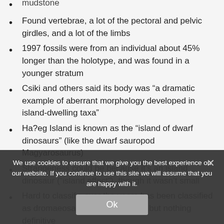mudstone
Found vertebrae, a lot of the pectoral and pelvic girdles, and a lot of the limbs
1997 fossils were from an individual about 45% longer than the holotype, and was found in a younger stratum
Csiki and others said its body was “a dramatic example of aberrant morphology developed in island-dwelling taxa”
Ha?eg Island is known as the “island of dwarf dinosaurs” (like the dwarf sauropod Magyarosaurus)
Strangeness could be because it’s an island dinosaur (“island effect”), though it wasn’t small
Hard to classify, over the years has been classified as dromaeosaurid, basal avialan, but nothing definitive
We use cookies to ensure that we give you the best experience on our website. If you continue to use this site we will assume that you are happy with it.